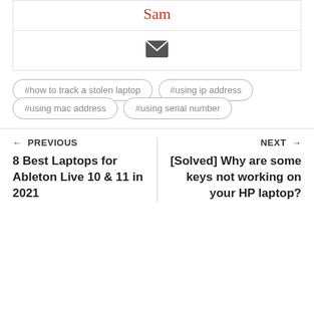Sam
[Figure (other): Envelope/mail icon]
#how to track a stolen laptop
#using ip address
#using mac address
#using serial number
← PREVIOUS
8 Best Laptops for Ableton Live 10 & 11 in 2021
NEXT →
[Solved] Why are some keys not working on your HP laptop?